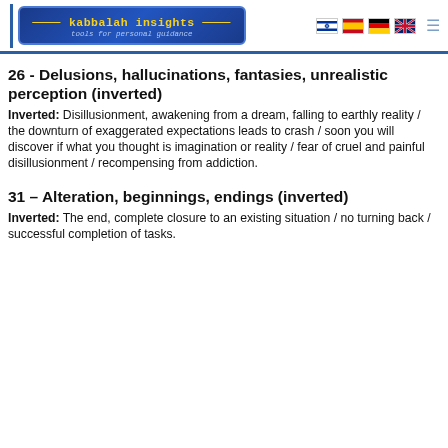Kabbalah Insights – tools for personal guidance
26 - Delusions, hallucinations, fantasies, unrealistic perception (inverted)
Inverted: Disillusionment, awakening from a dream, falling to earthly reality / the downturn of exaggerated expectations leads to crash / soon you will discover if what you thought is imagination or reality / fear of cruel and painful disillusionment / recompensing from addiction.
31 – Alteration, beginnings, endings (inverted)
Inverted: The end, complete closure to an existing situation / no turning back / successful completion of tasks.